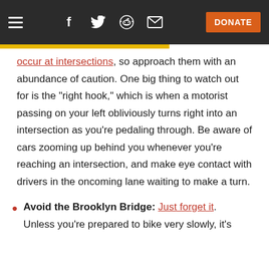Navigation bar with hamburger menu, social icons (Facebook, Twitter, Reddit, email), and DONATE button
occur at intersections, so approach them with an abundance of caution. One big thing to watch out for is the "right hook," which is when a motorist passing on your left obliviously turns right into an intersection as you're pedaling through. Be aware of cars zooming up behind you whenever you're reaching an intersection, and make eye contact with drivers in the oncoming lane waiting to make a turn.
Avoid the Brooklyn Bridge: Just forget it. Unless you're prepared to bike very slowly, it's